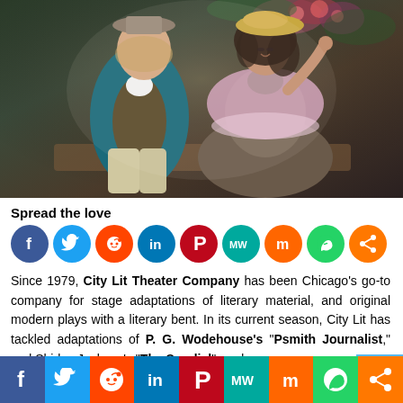[Figure (photo): Two actors in period costume on stage: a man in a teal jacket and grey hat, and a woman in a lavender floral shawl and brown dress, seated together in a theatrical setting with roses in the background.]
Spread the love
[Figure (infographic): Row of social media sharing buttons: Facebook, Twitter, Reddit, LinkedIn, Pinterest, Mix/MeWe, Mix, WhatsApp, Share]
Since 1979, City Lit Theater Company has been Chicago's go-to company for stage adaptations of literary material, and original modern plays with a literary bent. In its current season, City Lit has tackled adaptations of P. G. Wodehouse's "Psmith Journalist," and Shirley Jackson's "The Sundial", and
[Figure (infographic): Bottom social media bar with icons for Facebook, Twitter, Reddit, LinkedIn, Pinterest, MeWe, Mix, WhatsApp, Share]